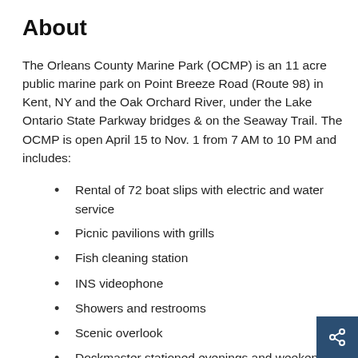About
The Orleans County Marine Park (OCMP) is an 11 acre public marine park on Point Breeze Road (Route 98) in Kent, NY and the Oak Orchard River, under the Lake Ontario State Parkway bridges & on the Seaway Trail. The OCMP is open April 15 to Nov. 1 from 7 AM to 10 PM and includes:
Rental of 72 boat slips with electric and water service
Picnic pavilions with grills
Fish cleaning station
INS videophone
Showers and restrooms
Scenic overlook
Dockmaster stationed evenings and weekends
Marine patrol station